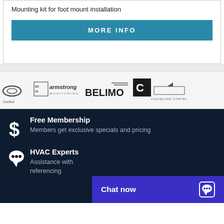Mounting kit for foot mount installation
MORE INFO
[Figure (logo): Row of brand logos: partial arc/Control logo, Armstrong Monitoring logo, BELIMO logo, Cleveland Controls logo]
Free Membership
Members get exclusive specials and pricing
HVAC Experts
Assistance with referencing
Chat now